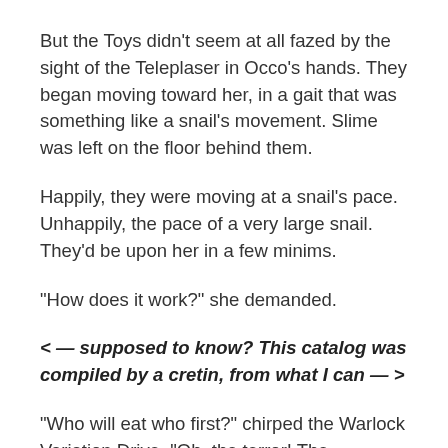But the Toys didn't seem at all fazed by the sight of the Teleplaser in Occo's hands. They began moving toward her, in a gait that was something like a snail's movement. Slime was left on the floor behind them.
Happily, they were moving at a snail's pace. Unhappily, the pace of a very large snail. They'd be upon her in a few minims.
“How does it work?” she demanded.
< — supposed to know? This catalog was compiled by a cretin, from what I can — >
“Who will eat who first?” chirped the Warlock Variation Drive. “Oh, the terror! The trepidation!”